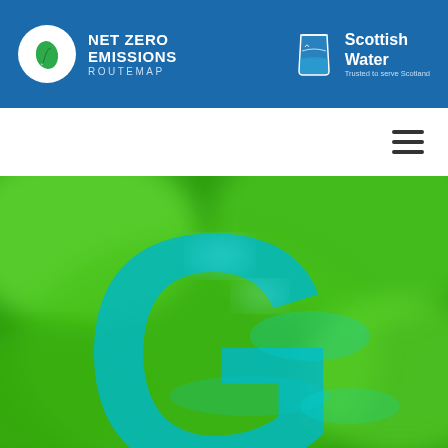NET ZERO EMISSIONS ROUTEMAP — Scottish Water, Trusted to serve Scotland
[Figure (logo): Net Zero Emissions Routemap logo with green leaf in white circle, and Scottish Water logo with water glass icon]
[Figure (photo): Hero image showing a large teal/cyan letter G overlaid on a blurred green nature background, with water visible through the letter]